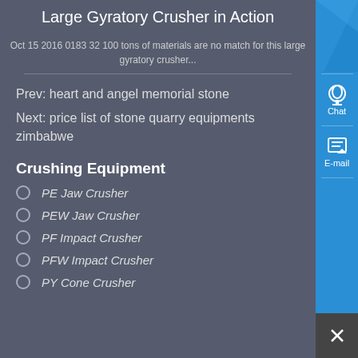Large Gyratory Crusher in Action
Oct 15 2016 0183 32 100 tons of materials are no match for this large gyratory crusher...
Prev: heart and angel memorial stone
Next: price list of stone quarry equipments zimbabwe
Crushing Equipment
PE Jaw Crusher
PEW Jaw Crusher
PF Impact Crusher
PFW Impact Crusher
PY Cone Crusher
Get a Quote
WhatsApp